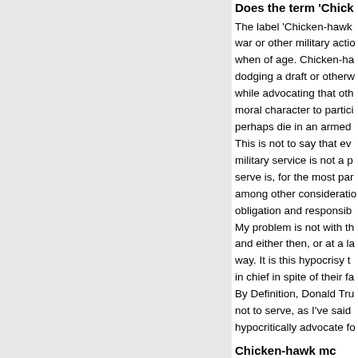Does the term 'Chicken-hawk' mo...
The label 'Chicken-hawk' is applied to those who advocate war or other military action but who chose not to serve when of age. Chicken-hawks are those who succeeded in dodging a draft or otherwise avoiding military service while advocating that others risk their lives and have the moral character to participate in combat situations, and perhaps die in an armed conflict. This is not to say that everyone who did not perform military service is not a patriot. The decision to not serve is, for the most part, a very personal matter among other considerations of civic duty, patriotic obligation and responsibility. My problem is not with those who chose not to serve and either then, or at a later date, felt the same way. It is this hypocrisy that makes it possible to be commander in chief in spite of their failure to serve. By Definition, Donald Tru... not to serve, as I've said... hypocritically advocate fo...
Chicken-hawk mo...